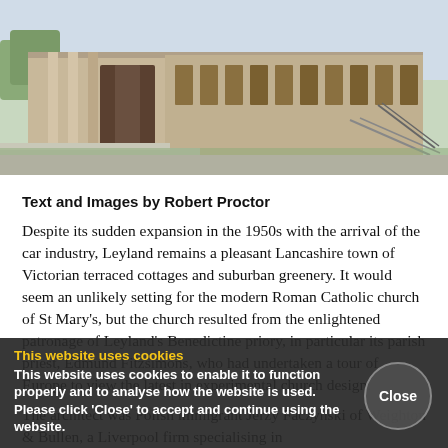[Figure (photo): Exterior photograph of a modern Roman Catholic church building with flat roof, concrete steps, and ramp. Green lawn visible in foreground and trees in background.]
Text and Images by Robert Proctor
Despite its sudden expansion in the 1950s with the arrival of the car industry, Leyland remains a pleasant Lancashire town of Victorian terraced cottages and suburban greenery. It would seem an unlikely setting for the modern Roman Catholic church of St Mary's, but the church resulted from the enlightened patronage of Leyland's Benedictine priory, in particular its parish priest, Edmund Fitzsimons, who had undertaken a tour of Europe to view the latest in experimental church design.

The architect was Polish immigrant Jerzy Faczynski of Weighton & Bullen, a Liverpool firm specialising in
This website uses cookies
This website uses cookies to enable it to function properly and to analyse how the website is used. Please click 'Close' to accept and continue using the website.